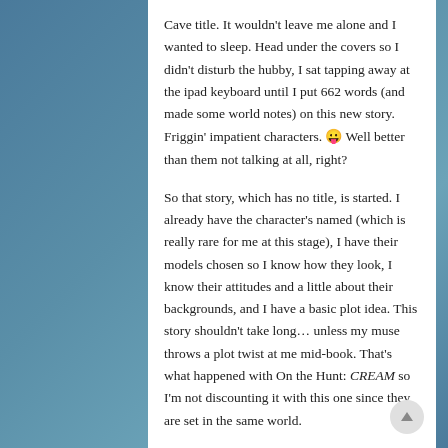Cave title. It wouldn't leave me alone and I wanted to sleep. Head under the covers so I didn't disturb the hubby, I sat tapping away at the ipad keyboard until I put 662 words (and made some world notes) on this new story. Friggin' impatient characters. 😛 Well better than them not talking at all, right?
So that story, which has no title, is started. I already have the character's named (which is really rare for me at this stage), I have their models chosen so I know how they look, I know their attitudes and a little about their backgrounds, and I have a basic plot idea. This story shouldn't take long… unless my muse throws a plot twist at me mid-book. That's what happened with On the Hunt: CREAM so I'm not discounting it with this one since they are set in the same world.
The final word count for Soul Debt: Or Current Resident is 27,911 words and it's off to my editor.